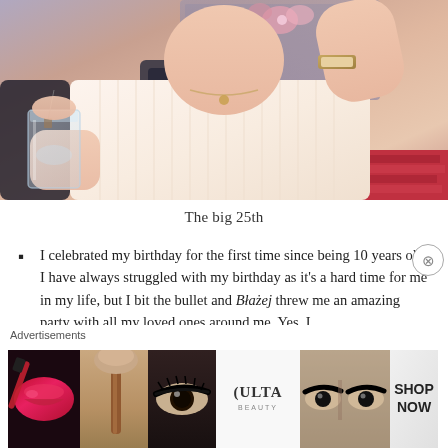[Figure (photo): A person wearing a white ribbed sleeveless top, holding up one arm, with a glass of water visible in the lower left. The setting appears to be a salon or dressing room with mirrors and decor in the background.]
The big 25th
I celebrated my birthday for the first time since being 10 years old. I have always struggled with my birthday as it's a hard time for me in my life, but I bit the bullet and Błażej threw me an amazing party with all my loved ones around me. Yes, I cried ALOT, and yes I got very very drunk
Advertisements
[Figure (illustration): Ulta Beauty advertisement banner showing beauty product imagery including lips with lipstick, a makeup brush, a closeup eye, Ulta Beauty logo, eyes with bold liner, and a 'SHOP NOW' call to action.]